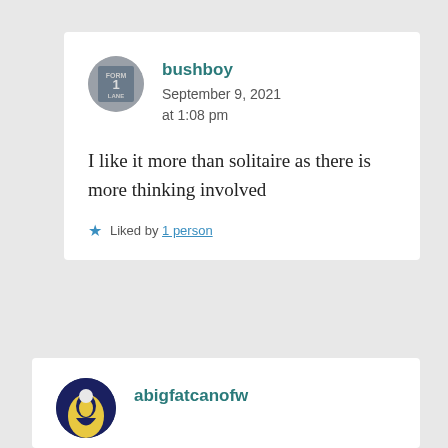bushboy
September 9, 2021 at 1:08 pm
I like it more than solitaire as there is more thinking involved
Liked by 1 person
abigfatcanofw